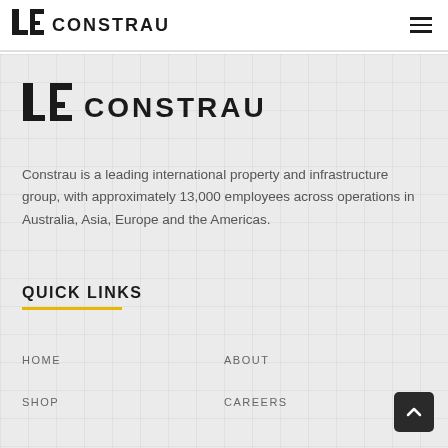CONSTRAU
[Figure (logo): Constrau company logo with stylized LC mark and CONSTRAU text]
Constrau is a leading international property and infrastructure group, with approximately 13,000 employees across operations in Australia, Asia, Europe and the Americas.
QUICK LINKS
HOME
ABOUT
SHOP
CAREERS